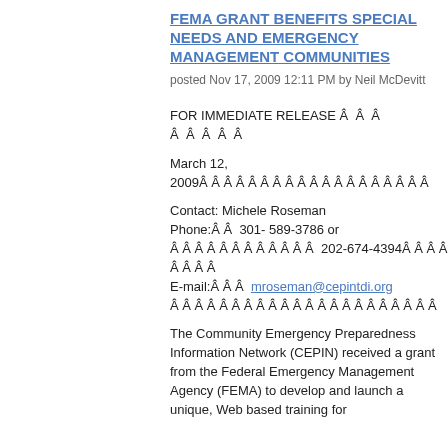FEMA GRANT BENEFITS SPECIAL NEEDS AND EMERGENCY MANAGEMENT COMMUNITIES
posted Nov 17, 2009 12:11 PM by Neil McDevitt
FOR IMMEDIATE RELEASE Â  Â  Â  Â  Â  Â  Â  Â
March 12, 2009Â Â Â Â Â Â Â Â Â Â Â Â Â Â Â Â Â Â Â
Contact: Michele Roseman
Phone:Â Â  301- 589-3786 or Â Â Â Â Â Â Â Â Â Â Â Â Â  202-674-4394Â Â Â Â Â Â Â Â
E-mail:Â Â Â  mroseman@cepintdi.org Â Â Â Â Â Â Â Â Â Â Â Â Â Â Â Â Â Â Â Â Â
The Community Emergency Preparedness Information Network (CEPIN) received a grant from the Federal Emergency Management Agency (FEMA) to develop and launch a unique, Web based training for